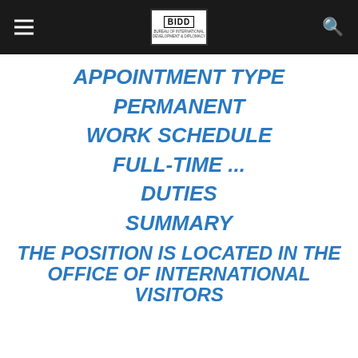BIDD — Bureau of International Development and Diplomacy
APPOINTMENT TYPE
PERMANENT
WORK SCHEDULE
FULL-TIME ...
DUTIES
SUMMARY
THE POSITION IS LOCATED IN THE OFFICE OF INTERNATIONAL VISITORS